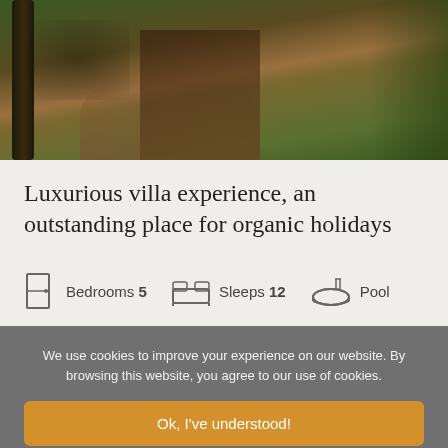[Figure (photo): Outdoor forest path with trees and reddish dirt trail, green grass, natural setting]
Luxurious villa experience, an outstanding place for organic holidays
Bedrooms 5   Sleeps 12   Pool
We use cookies to improve your experience on our website. By browsing this website, you agree to our use of cookies.
Ok, I've understood!
Decline
Settings
More Info